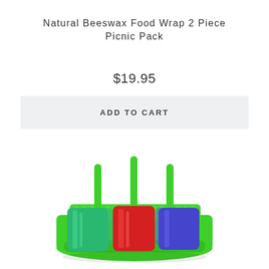Natural Beeswax Food Wrap 2 Piece Picnic Pack
$19.95
ADD TO CART
[Figure (photo): A set of colorful popsicle molds in a green holder. The molds contain green, red, and blue/purple popsicles with green sticks, arranged in a 3x2 grid on a bright green base tray.]